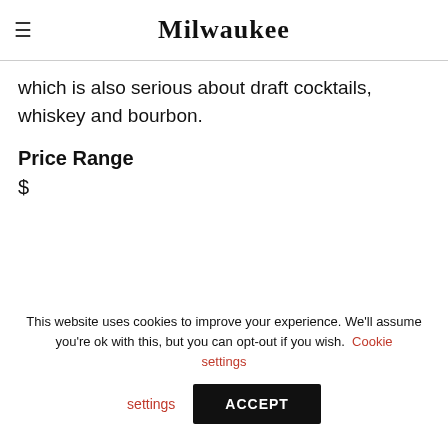Milwaukee
no patties. Imagine more. That is the modus operandi of this super-delish counter-service sausage emporium, which is also serious about draft cocktails, whiskey and bourbon.
Price Range
$
Share  Bookmark
This website uses cookies to improve your experience. We'll assume you're ok with this, but you can opt-out if you wish. Cookie settings ACCEPT